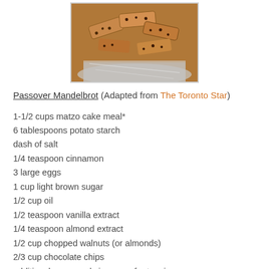[Figure (photo): Photo of Passover Mandelbrot (biscotti-like cookies) on foil wrapping]
Passover Mandelbrot (Adapted from The Toronto Star)
1-1/2 cups matzo cake meal*
6 tablespoons potato starch
dash of salt
1/4 teaspoon cinnamon
3 large eggs
1 cup light brown sugar
1/2 cup oil
1/2 teaspoon vanilla extract
1/4 teaspoon almond extract
1/2 cup chopped walnuts (or almonds)
2/3 cup chocolate chips
additional sugar and cinnamon for topping